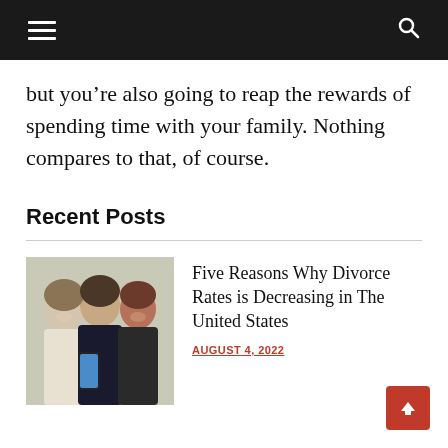Navigation menu and search bar
but you’re also going to reap the rewards of spending time with your family. Nothing compares to that, of course.
Recent Posts
[Figure (photo): Group of three people smiling and looking at a smartphone together]
Five Reasons Why Divorce Rates is Decreasing in The United States
AUGUST 4, 2022